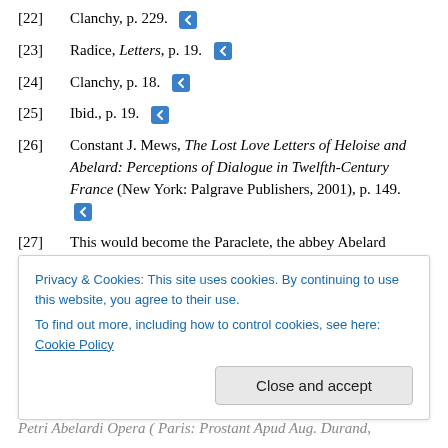[22]  Clanchy, p. 229.
[23]  Radice, Letters, p. 19.
[24]  Clanchy, p. 18.
[25]  Ibid., p. 19.
[26]  Constant J. Mews, The Lost Love Letters of Heloise and Abelard: Perceptions of Dialogue in Twelfth-Century France (New York: Palgrave Publishers, 2001), p. 149.
[27]  This would become the Paraclete, the abbey Abelard
Privacy & Cookies: This site uses cookies. By continuing to use this website, you agree to their use. To find out more, including how to control cookies, see here: Cookie Policy
Petri Abelardi Opera (Paris: Prostant Apud Aug. Durand,